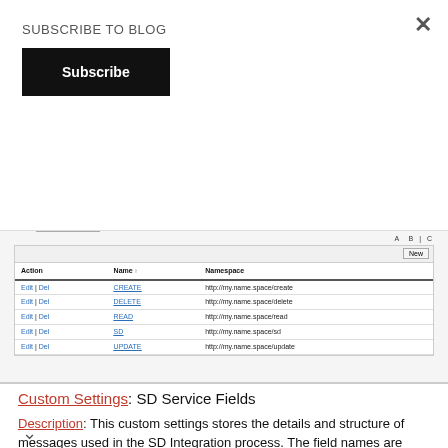SUBSCRIBE TO BLOG
[Figure (screenshot): Salesforce custom settings list view showing CREATE, DELETE, READ, SD, UPDATE entries with their namespaces and Edit/Del action links. Includes View selector (Full View), A B C pagination, and a New button.]
Custom Settings: SD Service Fields
Description: This custom settings stores the details and structure of messages used in the SD Integration process. The field names are quite self explanatory. is custom settings is very important and later in the